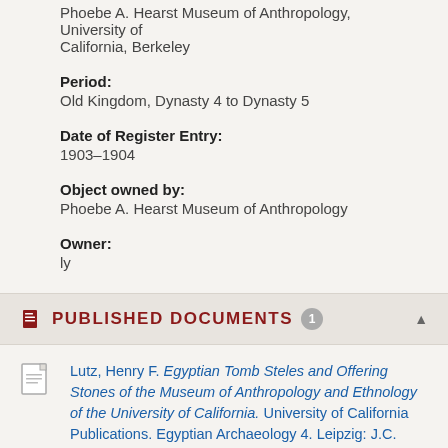Phoebe A. Hearst Museum of Anthropology, University of California, Berkeley
Period:
Old Kingdom, Dynasty 4 to Dynasty 5
Date of Register Entry:
1903–1904
Object owned by:
Phoebe A. Hearst Museum of Anthropology
Owner:
ly
PUBLISHED DOCUMENTS
Lutz, Henry F. Egyptian Tomb Steles and Offering Stones of the Museum of Anthropology and Ethnology of the University of California. University of California Publications. Egyptian Archaeology 4. Leipzig: J.C. Hinrichs, 1927.
Date: 1927